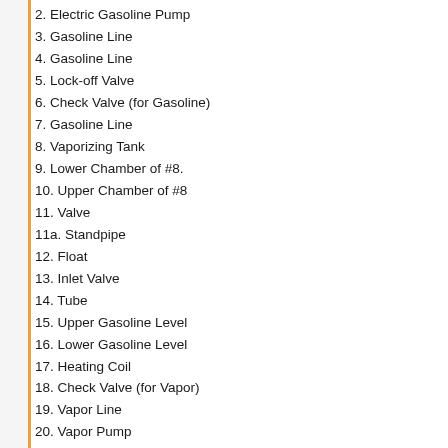2. Electric Gasoline Pump
3. Gasoline Line
4. Gasoline Line
5. Lock-off Valve
6. Check Valve (for Gasoline)
7. Gasoline Line
8. Vaporizing Tank
9. Lower Chamber of #8.
10. Upper Chamber of #8
11. Valve
11a. Standpipe
12. Float
13. Inlet Valve
14. Tube
15. Upper Gasoline Level
16. Lower Gasoline Level
17. Heating Coil
18. Check Valve (for Vapor)
19. Vapor Line
20. Vapor Pump
21. Vapor Line
22. Pressurized Tank
23. Pressure Relief Valve